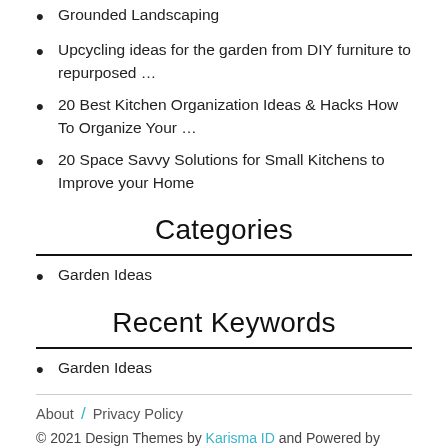Grounded Landscaping
Upcycling ideas for the garden from DIY furniture to repurposed …
20 Best Kitchen Organization Ideas & Hacks How To Organize Your …
20 Space Savvy Solutions for Small Kitchens to Improve your Home
Categories
Garden Ideas
Recent Keywords
Garden Ideas
About / Privacy Policy
© 2021 Design Themes by Karisma ID and Powered by